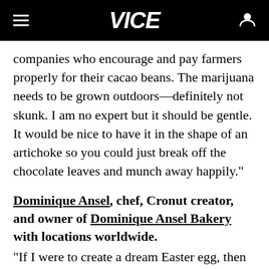VICE
companies who encourage and pay farmers properly for their cacao beans. The marijuana needs to be grown outdoors—definitely not skunk. I am no expert but it should be gentle. It would be nice to have it in the shape of an artichoke so you could just break off the chocolate leaves and munch away happily."
Dominique Ansel, chef, Cronut creator, and owner of Dominique Ansel Bakery with locations worldwide.
"If I were to create a dream Easter egg, then it would be a perfect egg-shaped croissant. Flaky, fluffy, buttery, done inside, baked until...